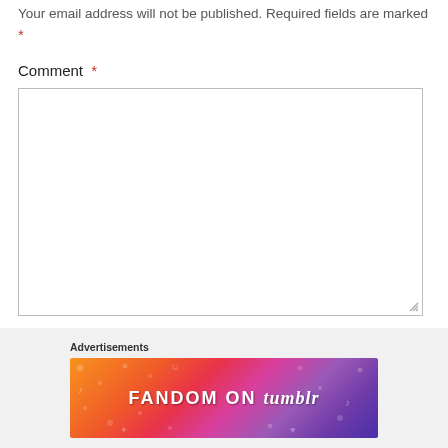Your email address will not be published. Required fields are marked *
Comment *
[Figure (screenshot): Empty comment text area input box with resize handle in bottom right corner]
[Figure (infographic): Fandom on Tumblr advertisement banner with colorful gradient background (orange to purple) and decorative doodles]
Advertisements